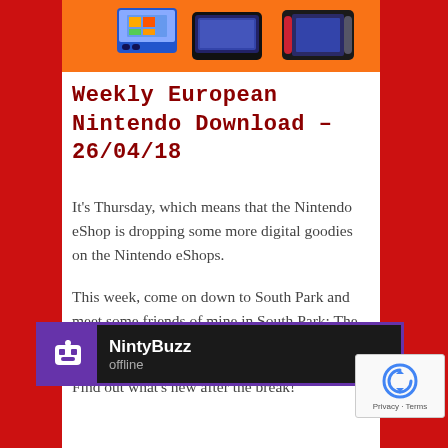[Figure (photo): Top banner showing Nintendo gaming devices including 3DS, Wii U, and Nintendo Switch on an orange background]
Weekly European Nintendo Download – 26/04/18
It's Thursday, which means that the Nintendo eShop is dropping some more digital goodies on the Nintendo eShops.
This week, come on down to South Park and meet some friends of mine in South Park: The Fractured But Whole for Switch, , and more!
Find out what's new after the break!
[Figure (screenshot): NintyBuzz chat widget showing logo icon on purple background with name NintyBuzz and status offline on dark background]
[Figure (other): Google reCAPTCHA widget with circular arrow logo and Privacy · Terms text]